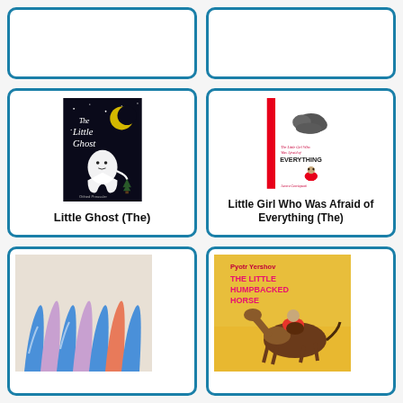[Figure (illustration): Partial top card left - cut off at top]
[Figure (illustration): Partial top card right - cut off at top]
[Figure (illustration): Book cover: The Little Ghost by Otfried Preussler - white ghost on black background with moon and stars]
Little Ghost (The)
[Figure (illustration): Book cover: The Little Girl Who Was Afraid of Everything by Aurora Cacciapuoti - white/red cover with girl in red and dark cloud]
Little Girl Who Was Afraid of Everything (The)
[Figure (illustration): Book cover - colorful illustrated cover with blue/pink figures, partially shown]
[Figure (illustration): Book cover: The Little Humpbacked Horse by Pyotr Yershov - yellow cover with horse and rider]